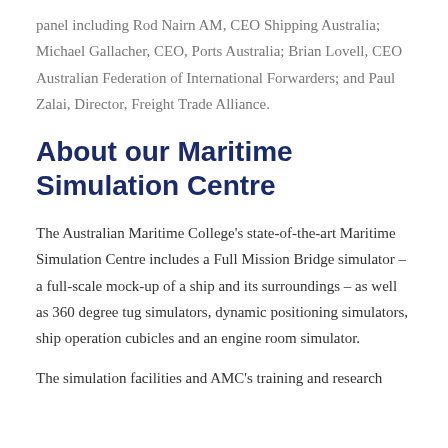panel including Rod Nairn AM, CEO Shipping Australia; Michael Gallacher, CEO, Ports Australia; Brian Lovell, CEO Australian Federation of International Forwarders; and Paul Zalai, Director, Freight Trade Alliance.
About our Maritime Simulation Centre
The Australian Maritime College's state-of-the-art Maritime Simulation Centre includes a Full Mission Bridge simulator – a full-scale mock-up of a ship and its surroundings – as well as 360 degree tug simulators, dynamic positioning simulators, ship operation cubicles and an engine room simulator.
The simulation facilities and AMC's training and research